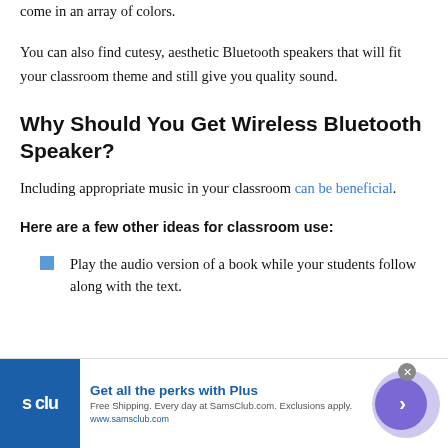come in an array of colors.
You can also find cutesy, aesthetic Bluetooth speakers that will fit your classroom theme and still give you quality sound.
Why Should You Get Wireless Bluetooth Speaker?
Including appropriate music in your classroom can be beneficial.
Here are a few other ideas for classroom use:
Play the audio version of a book while your students follow along with the text.
[Figure (other): Advertisement banner for Sam's Club: 'Get all the perks with Plus' with logo, text about free shipping, and a circular button with chevron.]